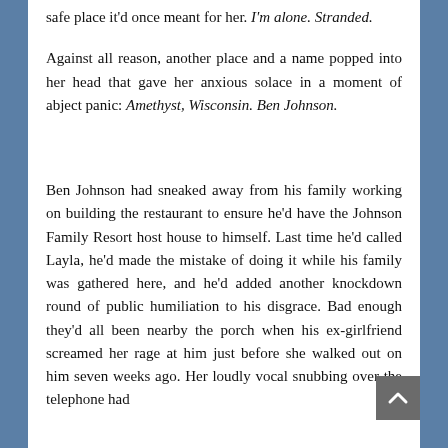safe place it'd once meant for her. I'm alone. Stranded.
Against all reason, another place and a name popped into her head that gave her anxious solace in a moment of abject panic: Amethyst, Wisconsin. Ben Johnson.
Ben Johnson had sneaked away from his family working on building the restaurant to ensure he'd have the Johnson Family Resort host house to himself. Last time he'd called Layla, he'd made the mistake of doing it while his family was gathered here, and he'd added another knockdown round of public humiliation to his disgrace. Bad enough they'd all been nearby the porch when his ex-girlfriend screamed her rage at him just before she walked out on him seven weeks ago. Her loudly vocal snubbing over the telephone had